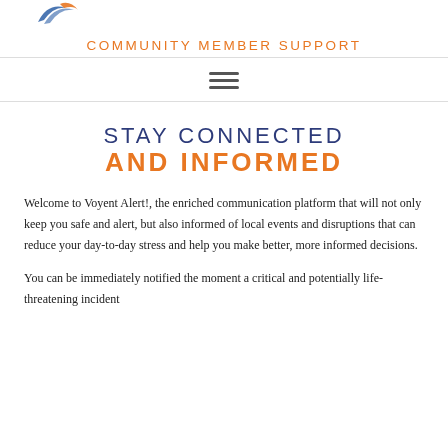[Figure (logo): Voyent Alert logo mark, two curved swoosh shapes in blue and orange]
COMMUNITY MEMBER SUPPORT
[Figure (other): Hamburger menu icon with three horizontal lines]
STAY CONNECTED AND INFORMED
Welcome to Voyent Alert!, the enriched communication platform that will not only keep you safe and alert, but also informed of local events and disruptions that can reduce your day-to-day stress and help you make better, more informed decisions.
You can be immediately notified the moment a critical and potentially life-threatening incident